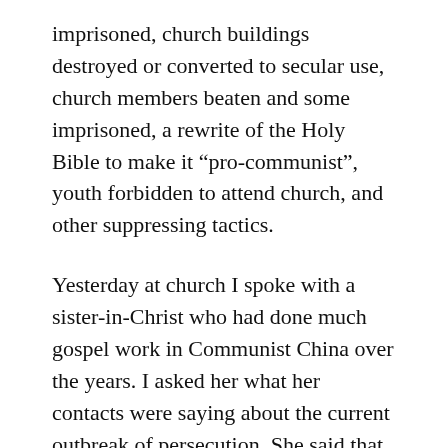imprisoned, church buildings destroyed or converted to secular use, church members beaten and some imprisoned, a rewrite of the Holy Bible to make it “pro-communist”, youth forbidden to attend church, and other suppressing tactics.
Yesterday at church I spoke with a sister-in-Christ who had done much gospel work in Communist China over the years. I asked her what her contacts were saying about the current outbreak of persecution. She said that some are saying it is really bad.
Others said they had been praying for persecution to return because the Christian